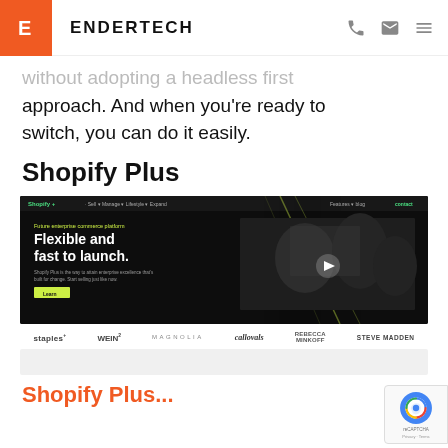ENDERTECH
without adopting a headless first approach. And when you're ready to switch, you can do it easily.
Shopify Plus
[Figure (screenshot): Shopify Plus website screenshot showing dark hero page with text 'Flexible and fast to launch.' and a video thumbnail, with navigation bar at top]
[Figure (infographic): Brand logos bar showing: staples, WEIN2, MAGNOLIA, callovals, REBECCA MINKOFF, STEVE MADDEN]
Shopify Plu...
[Figure (other): reCAPTCHA badge with Privacy and Terms links]